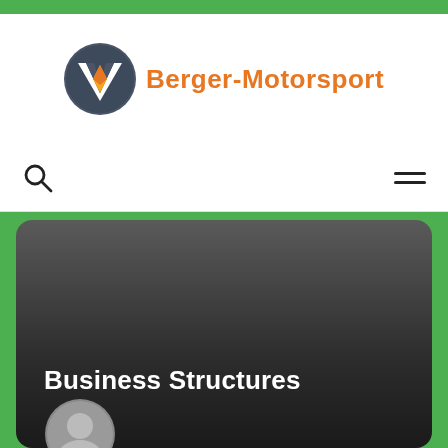[Figure (logo): Berger-Motorsport logo: dark blue circular emblem with stylized W/V white and yellow/orange shape, beside orange text 'Berger-Motorsport']
[Figure (other): Navigation bar with search icon (magnifying glass) on left and hamburger menu icon (three horizontal lines) on right]
Business Structures
[Figure (other): Partial circular avatar/profile image at bottom of dark card, grey tones, cropped at page edge]